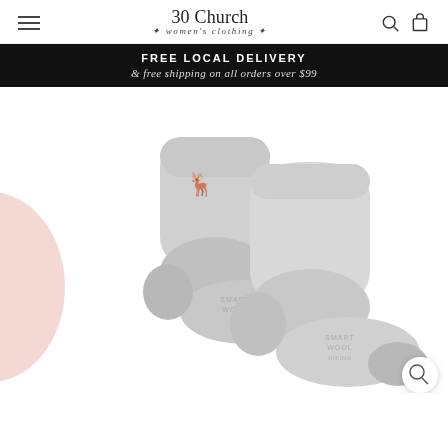30 Church * women's clothing *
FREE LOCAL DELIVERY & free shipping on all orders over $99
[Figure (photo): Product photo of two light grey athletic/hiking ankle socks with a mint green deer logo icon, shown side by side. A partial pink sock is visible on the left edge. The socks appear to be Smartwool or similar brand performance socks with cushioned heel and toe areas.]